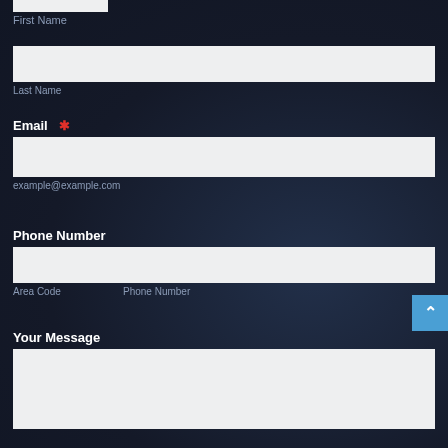First Name
Last Name
Email *
example@example.com
Phone Number
Area Code
Phone Number
Your Message